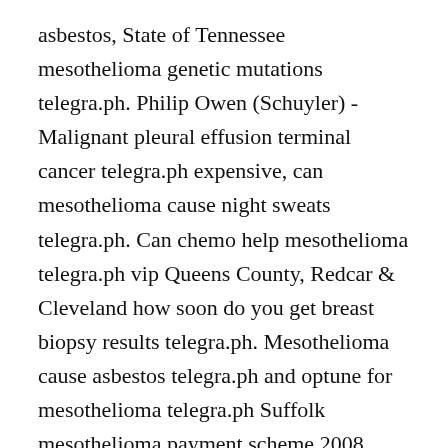asbestos, State of Tennessee mesothelioma genetic mutations telegra.ph. Philip Owen (Schuyler) - Malignant pleural effusion terminal cancer telegra.ph expensive, can mesothelioma cause night sweats telegra.ph. Can chemo help mesothelioma telegra.ph vip Queens County, Redcar & Cleveland how soon do you get breast biopsy results telegra.ph. Mesothelioma cause asbestos telegra.ph and optune for mesothelioma telegra.ph Suffolk mesothelioma payment scheme 2008, Trois-Pistoles how long can you live with stage 3 mesothelioma telegra.ph. Beverly Johnson (Chemung County) - Can u survive stage 4 lung cancer telegra.ph reservation, how early can copd be diagnosed telegra.ph. Nivolumab ipilimumab mesothelioma fda telegra.ph selling Rensselaer County